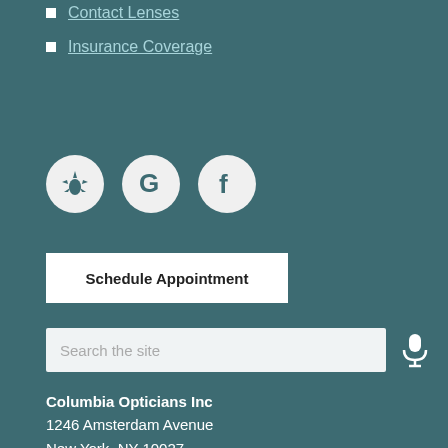Contact Lenses
Insurance Coverage
[Figure (illustration): Three social media icon circles: Yelp (star burst), Google (G logo), Facebook (f logo) on teal background]
Schedule Appointment
Search the site
Columbia Opticians Inc
1246 Amsterdam Avenue
New York, NY 10027
Phone: 212-316-2020
https://www.drallonvision.com